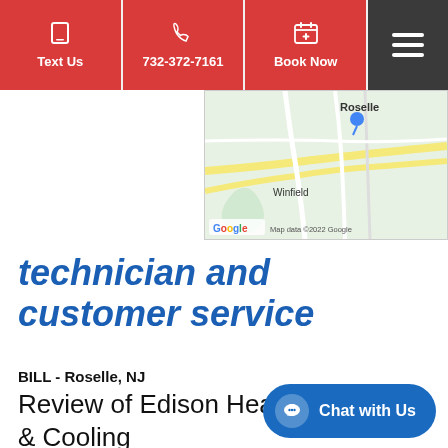Text Us | 732-372-7161 | Book Now
[Figure (map): Google Maps showing Roselle and Winfield area in New Jersey with a blue location pin. Map data ©2022 Google.]
technician and customer service
BILL - Roselle, NJ
Review of Edison Heating & Cooling